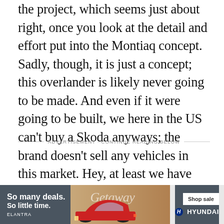the project, which seems just about right, once you look at the detail and effort put into the Montiaq concept. Sadly, though, it is just a concept; this overlander is likely never going to be made. And even if it were going to be built, we here in the US can't buy a Skoda anyways; the brand doesn't sell any vehicles in this market. Hey, at least we have Jeep.
ADVERTISEMENT - CONTINUE READING BELOW
[Figure (other): Hyundai Elantra advertisement banner. Red Elantra sedan on a desert road. Text: 'So many deals. So little time. ELANTRA'. 'Getaway' script text. 'Shop sale' button. Hyundai logo.]